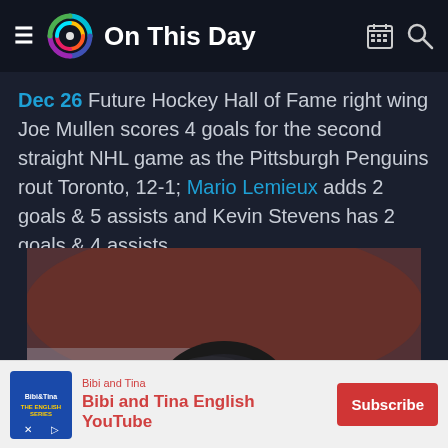On This Day
Dec 26 Future Hockey Hall of Fame right wing Joe Mullen scores 4 goals for the second straight NHL game as the Pittsburgh Penguins rout Toronto, 12-1; Mario Lemieux adds 2 goals & 5 assists and Kevin Stevens has 2 goals & 4 assists
[Figure (photo): Hockey player wearing a black helmet with chin strap, looking to the side, in hockey gear. Background shows blurred rink environment.]
Bibi and Tina — Bibi and Tina English YouTube — Subscribe